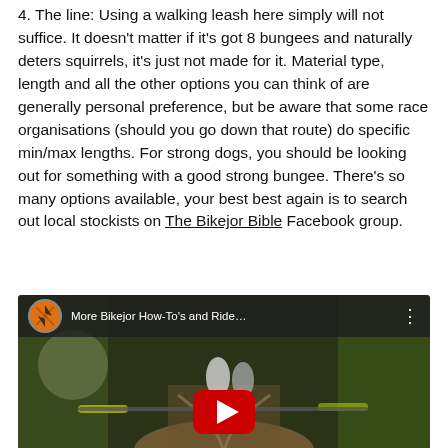4. The line: Using a walking leash here simply will not suffice. It doesn't matter if it's got 8 bungees and naturally deters squirrels, it's just not made for it. Material type, length and all the other options you can think of are generally personal preference, but be aware that some race organisations (should you go down that route) do specific min/max lengths. For strong dogs, you should be looking out for something with a good strong bungee. There's so many options available, your best best again is to search out local stockists on The Bikejor Bible Facebook group.
[Figure (screenshot): Embedded YouTube video thumbnail showing a bikejor scene — a rider on a mountain bike with two dogs in harnesses on a forest trail, viewed from behind. The video title bar reads 'More Bikejor How-To's and Ride...' with a YouTube channel logo and a red play button overlay.]